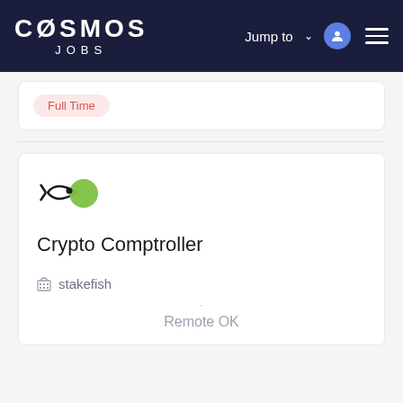COSMOS JOBS — Jump to
Full Time
Crypto Comptroller
stakefish
Remote OK